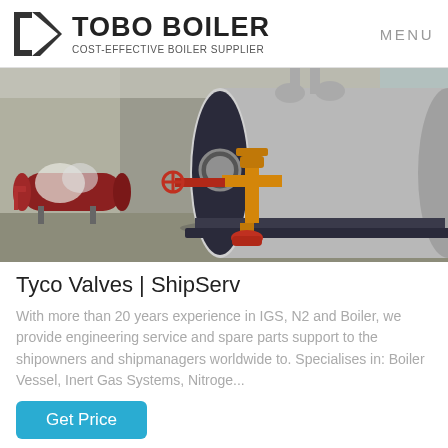TOBO BOILER COST-EFFECTIVE BOILER SUPPLIER | MENU
[Figure (photo): Industrial boiler photographed in a warehouse/factory setting. A large cylindrical gray boiler dominates the center-right. On the left is a smaller red horizontal tank. In front of the boiler is a yellow gas valve/regulator assembly with red fittings at the base. Background shows industrial building walls and blue corrugated metal.]
Tyco Valves | ShipServ
With more than 20 years experience in IGS, N2 and Boiler, we provide engineering service and spare parts support to the shipowners and shipmanagers worldwide to. Specialises in: Boiler Vessel, Inert Gas Systems, Nitroge...
Get Price